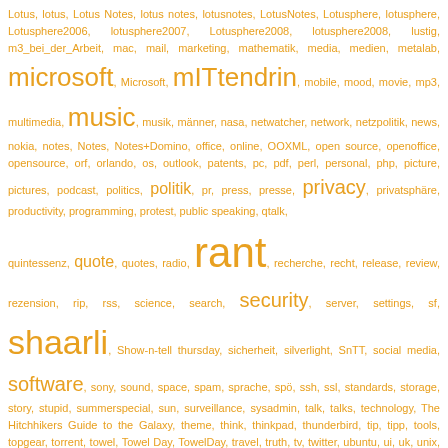Lotus, lotus, Lotus Notes, lotus notes, lotusnotes, LotusNotes, Lotusphere, lotusphere, Lotusphere2006, lotusphere2007, Lotusphere2008, lotusphere2008, lustig, m3_bei_der_Arbeit, mac, mail, marketing, mathematik, media, medien, metalab, microsoft, Microsoft, mITtendrin, mobile, mood, movie, mp3, multimedia, music, musik, männer, nasa, netwatcher, network, netzpolitik, news, nokia, notes, Notes, Notes+Domino, office, online, OOXML, open source, openoffice, opensource, orf, orlando, os, outlook, patents, pc, pdf, perl, personal, php, picture, pictures, podcast, politics, politik, pr, press, presse, privacy, privatsphäre, productivity, programming, protest, public speaking, qtalk, quintessenz, quote, quotes, radio, rant, recherche, recht, release, review, rezension, rip, rss, science, search, security, server, settings, sf, shaarli, Show-n-tell thursday, sicherheit, silverlight, SnTT, social media, software, sony, sound, space, spam, sprache, spö, ssh, ssl, standards, storage, story, stupid, summerspecial, sun, surveillance, sysadmin, talk, talks, technology, The Hitchhikers Guide to the Galaxy, theme, think, thinkpad, thunderbird, tip, tipp, tools, topgear, torrent, towel, Towel Day, TowelDay, travel, truth, tv, twitter, ubuntu, ui, uk, unix, update, usa, usb, vds, video, videoüberwachung, vienna, Vim, vim, vista, vorratsdatenspeicherung, vortrag, wahl, wcm, web, web 2.0, web2.0, Web20, web20, webdesign, werbung, wien, wiener linien, wikileaks, windows, windows 7, wired, wishlist, wissen, Wissen_ist_Macht, wlan, work, workshops, wow, writing, wtf, Wunschzettel, wunschzettel, www, xbox, xml, xp, zensur, zukunft